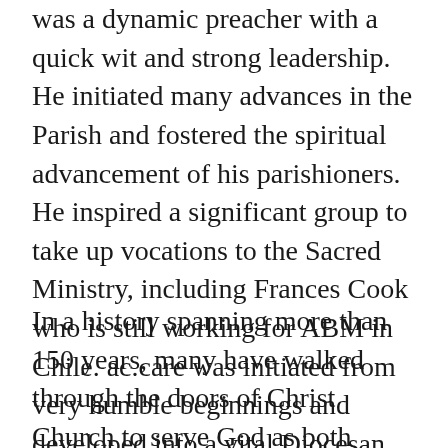was a dynamic preacher with a quick wit and strong leadership. He initiated many advances in the Parish and fostered the spiritual advancement of his parishioners. He inspired a significant group to take up vocations to the Sacred Ministry, including Frances Cook who is still working for ABM in Chile. ac.care was initiated from very humble beginnings and developed into a vital Diocesan welfare agency within his years in the Parish.
In a history spanning more than 150 years, many have walked through the doors of Christ Church to serve God as both clergy and lay people. Most have embraced the family of this Church in good times and bad, enjoying not only the spiritual life the Church but also